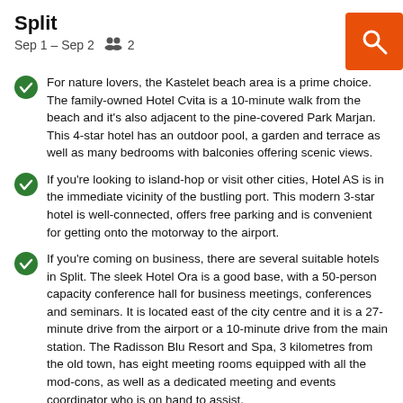Split
Sep 1 – Sep 2   2
For nature lovers, the Kastelet beach area is a prime choice. The family-owned Hotel Cvita is a 10-minute walk from the beach and it's also adjacent to the pine-covered Park Marjan. This 4-star hotel has an outdoor pool, a garden and terrace as well as many bedrooms with balconies offering scenic views.
If you're looking to island-hop or visit other cities, Hotel AS is in the immediate vicinity of the bustling port. This modern 3-star hotel is well-connected, offers free parking and is convenient for getting onto the motorway to the airport.
If you're coming on business, there are several suitable hotels in Split. The sleek Hotel Ora is a good base, with a 50-person capacity conference hall for business meetings, conferences and seminars. It is located east of the city centre and it is a 27-minute drive from the airport or a 10-minute drive from the main station. The Radisson Blu Resort and Spa, 3 kilometres from the old town, has eight meeting rooms equipped with all the mod-cons, as well as a dedicated meeting and events coordinator who is on hand to assist.